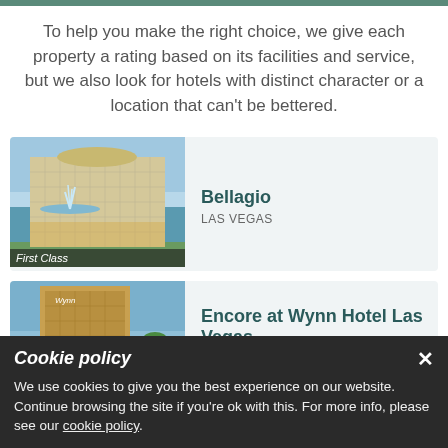To help you make the right choice, we give each property a rating based on its facilities and service, but we also look for hotels with distinct character or a location that can't be bettered.
[Figure (photo): Photo of the Bellagio hotel Las Vegas with fountains, labeled 'First Class']
Bellagio
LAS VEGAS
[Figure (photo): Photo of Encore at Wynn Hotel Las Vegas exterior]
Encore at Wynn Hotel Las Vegas
LAS VEGAS
Cookie policy
We use cookies to give you the best experience on our website. Continue browsing the site if you're ok with this. For more info, please see our cookie policy.